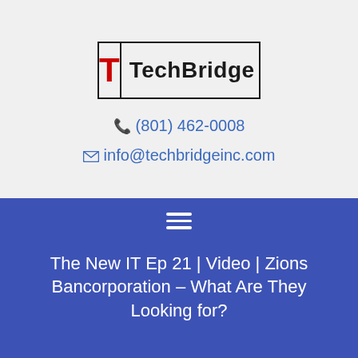[Figure (logo): TechBridge logo with red T in a box divided by a vertical line, with TechBridge text in black bold font]
📞 (801) 462-0008
✉ info@techbridgeinc.com
[Figure (other): Hamburger menu icon (three horizontal white lines) on blue background]
The New IT Ep 21 | Video | Zions Bancorporation – What Are They Looking for?